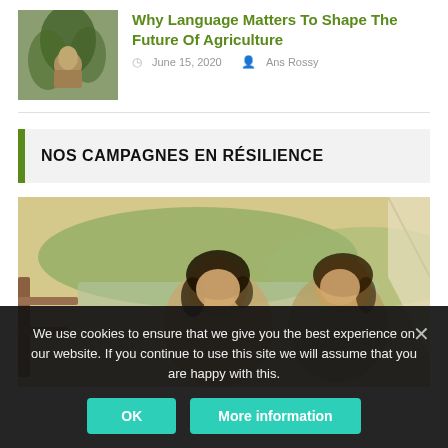[Figure (photo): Small thumbnail photo showing a person among trees/nature, greenish tone]
Why Language Matters To Shape The Future Of Agriculture
June 15, 2020  Ans Rossy
NOS CAMPAGNES EN RÉSILIENCE
[Figure (photo): Photo of two women in conversation outdoors near a greenhouse or tent structure, with hills and a river in the background, warm yellowish tone]
We use cookies to ensure that we give you the best experience on our website. If you continue to use this site we will assume that you are happy with this.